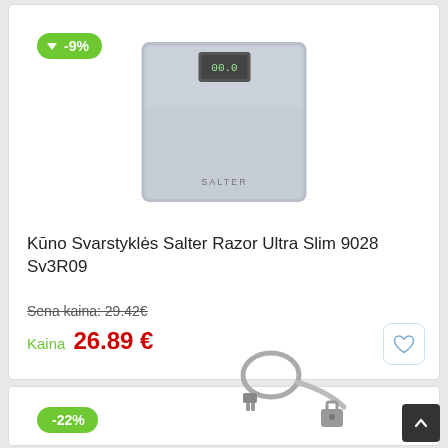[Figure (photo): Green discount badge showing -9% with downward arrow]
[Figure (photo): Salter Razor Ultra Slim bathroom scale in grey/silver color]
Kūno Svarstyklės Salter Razor Ultra Slim 9028 Sv3R09
Sena kaina: 29.42€
Kaina  26.89 €
[Figure (photo): Green discount badge showing -22% with downward arrow]
[Figure (photo): Cable lock / laptop security cable with key]